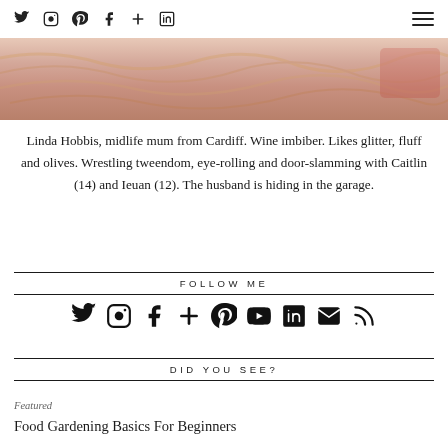Social media icons: Twitter, Instagram, Pinterest, Facebook, Plus, LinkedIn; Hamburger menu
[Figure (photo): Cropped photo of a woman with blonde hair, partially visible, pink/skin tones background]
Linda Hobbis, midlife mum from Cardiff. Wine imbiber. Likes glitter, fluff and olives. Wrestling tweendom, eye-rolling and door-slamming with Caitlin (14) and Ieuan (12). The husband is hiding in the garage.
FOLLOW ME
[Figure (infographic): Row of social media icons: Twitter, Instagram, Facebook, Plus, Pinterest, YouTube, LinkedIn, Email, RSS]
DID YOU SEE?
Featured
Food Gardening Basics For Beginners